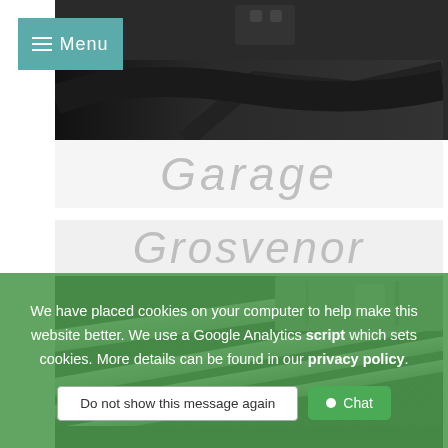[Figure (screenshot): Dark car interior photo at the top of the page, partially obscured]
Garage
Grosvenor
[Figure (photo): Close-up photo of a car boot/trunk mat with metallic rails and mesh pattern]
We have placed cookies on your computer to help make this website better. We use a Google Analytics script which sets cookies. More details can be found in our privacy policy.
Do not show this message again
Chat